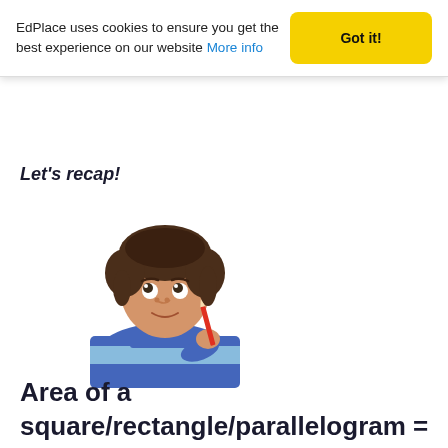EdPlace uses cookies to ensure you get the best experience on our website More info
Got it!
Let's recap!
[Figure (photo): A young boy in a blue striped sweater holding a red pencil and looking upward thoughtfully]
Area of a square/rectangle/parallelogram =